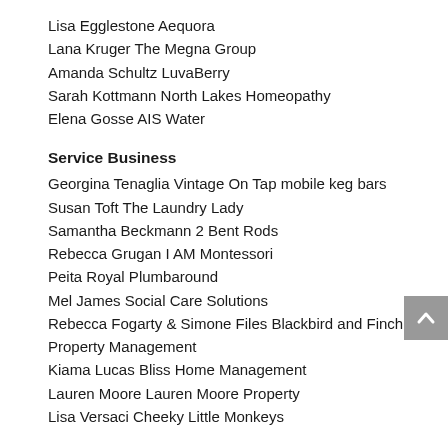Lisa Egglestone Aequora
Lana Kruger The Megna Group
Amanda Schultz LuvaBerry
Sarah Kottmann North Lakes Homeopathy
Elena Gosse AIS Water
Service Business
Georgina Tenaglia Vintage On Tap mobile keg bars
Susan Toft The Laundry Lady
Samantha Beckmann 2 Bent Rods
Rebecca Grugan I AM Montessori
Peita Royal Plumbaround
Mel James Social Care Solutions
Rebecca Fogarty & Simone Files Blackbird and Finch Property Management
Kiama Lucas Bliss Home Management
Lauren Moore Lauren Moore Property
Lisa Versaci Cheeky Little Monkeys
Women Will Change the World